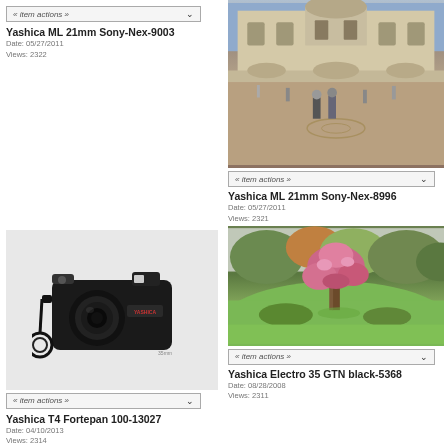[Figure (photo): Item actions button for Yashica ML 21mm Sony-Nex-9003]
Yashica ML 21mm Sony-Nex-9003
Date: 05/27/2011
Views: 2322
[Figure (photo): Photo of piazza with two people walking toward a large cathedral building]
[Figure (other): Item actions dropdown button]
Yashica ML 21mm Sony-Nex-8996
Date: 05/27/2011
Views: 2321
[Figure (photo): Photo of a black Yashica T4 compact film camera with wrist strap on white background]
[Figure (other): Item actions dropdown button]
Yashica T4 Fortepan 100-13027
Date: 04/10/2013
Views: 2314
[Figure (photo): Photo of a garden with a pink flowering tree on a green lawn]
[Figure (other): Item actions dropdown button]
Yashica Electro 35 GTN black-5368
Date: 08/28/2008
Views: 2311